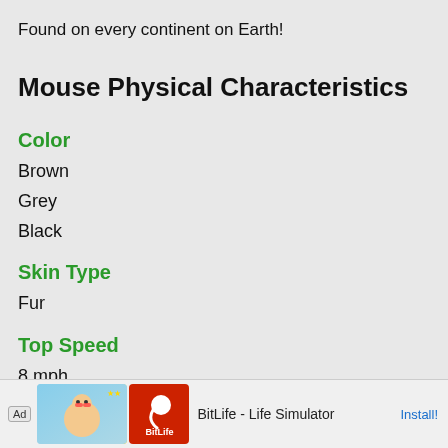Found on every continent on Earth!
Mouse Physical Characteristics
Color
Brown
Grey
Black
Skin Type
Fur
Top Speed
8 mph
Lifespan
2-5 years
Weight
100-20...